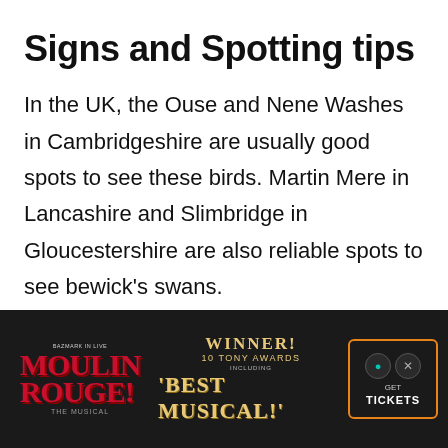Signs and Spotting tips
In the UK, the Ouse and Nene Washes in Cambridgeshire are usually good spots to see these birds. Martin Mere in Lancashire and Slimbridge in Gloucestershire are also reliable spots to see bewick's swans.
[Figure (other): Advertisement banner for Moulin Rouge! musical. Dark background. Left side shows 'MOULIN ROUGE!' in red theatrical font. Center shows 'WINNER! 10 TONY AWARDS INCLUDING BEST MUSICAL!' in gold text. Right side shows a 'GET TICKETS' button in an orange-bordered box.]